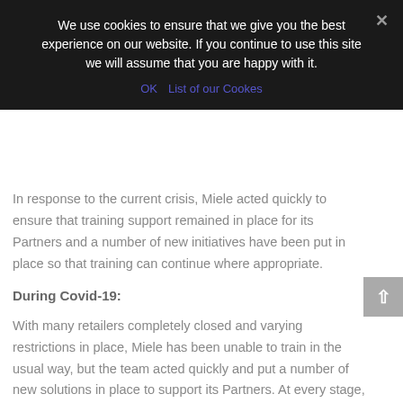We use cookies to ensure that we give you the best experience on our website. If you continue to use this site we will assume that you are happy with it.
OK  List of our Cookes
In response to the current crisis, Miele acted quickly to ensure that training support remained in place for its Partners and a number of new initiatives have been put in place so that training can continue where appropriate.
During Covid-19:
With many retailers completely closed and varying restrictions in place, Miele has been unable to train in the usual way, but the team acted quickly and put a number of new solutions in place to support its Partners. At every stage, Miele has kept in touch with Partners to see how they are doing and what they need, to ensure that what it is offering works for them and their unique situations.